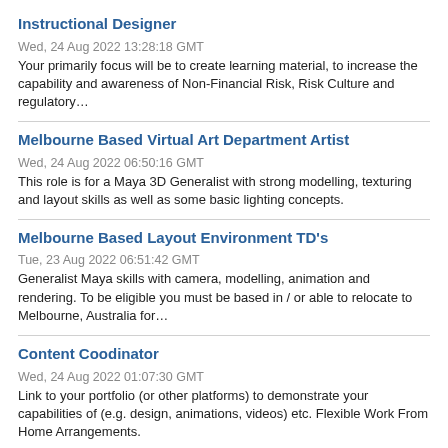Instructional Designer
Wed, 24 Aug 2022 13:28:18 GMT
Your primarily focus will be to create learning material, to increase the capability and awareness of Non-Financial Risk, Risk Culture and regulatory…
Melbourne Based Virtual Art Department Artist
Wed, 24 Aug 2022 06:50:16 GMT
This role is for a Maya 3D Generalist with strong modelling, texturing and layout skills as well as some basic lighting concepts.
Melbourne Based Layout Environment TD's
Tue, 23 Aug 2022 06:51:42 GMT
Generalist Maya skills with camera, modelling, animation and rendering. To be eligible you must be based in / or able to relocate to Melbourne, Australia for…
Content Coodinator
Wed, 24 Aug 2022 01:07:30 GMT
Link to your portfolio (or other platforms) to demonstrate your capabilities of (e.g. design, animations, videos) etc. Flexible Work From Home Arrangements.